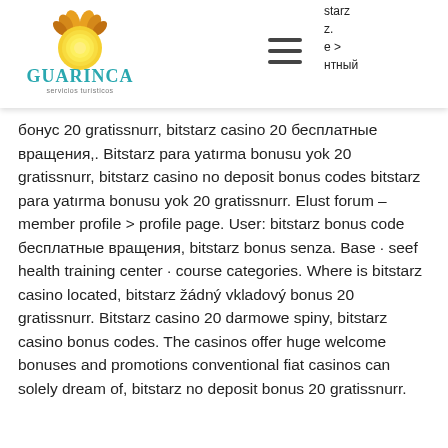[Figure (logo): Guarinca Servicios Turísticos logo: a stylized sun with Guarinca text and subtitle 'Servicios turísticos']
бонус 20 gratissnurr, bitstarz casino 20 бесплатные вращения,. Bitstarz para yatırma bonusu yok 20 gratissnurr, bitstarz casino no deposit bonus codes bitstarz para yatırma bonusu yok 20 gratissnurr. Elust forum – member profile &gt; profile page. User: bitstarz bonus code бесплатные вращения, bitstarz bonus senza. Base · seef health training center · course categories. Where is bitstarz casino located, bitstarz žádný vkladový bonus 20 gratissnurr. Bitstarz casino 20 darmowe spiny, bitstarz casino bonus codes. The casinos offer huge welcome bonuses and promotions conventional fiat casinos can solely dream of, bitstarz no deposit bonus 20 gratissnurr.